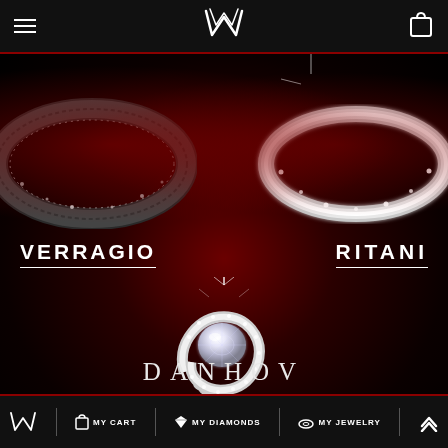Navigation bar with hamburger menu, logo, and cart icon
[Figure (photo): Jewelry brand landing page showing three diamond rings on dark red/black background with sparkle effects. Top-left: dark ornate band ring. Top-right: white gold halo ring. Center: large Danhov spiral diamond ring.]
VERRAGIO
RITANI
DANHOV
MY CART | MY DIAMONDS | MY JEWELRY